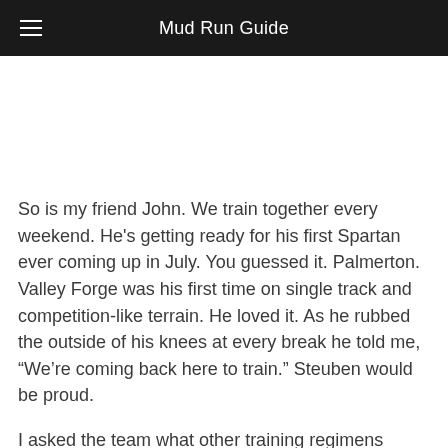Mud Run Guide
So is my friend John. We train together every weekend. He's getting ready for his first Spartan ever coming up in July. You guessed it. Palmerton. Valley Forge was his first time on single track and competition-like terrain. He loved it. As he rubbed the outside of his knees at every break he told me, “We’re coming back here to train.” Steuben would be proud.
I asked the team what other training regimens they do here. Some days they focus on hill sprints. Joan was one of those who started out unable to sprint a single hill. Nowadays